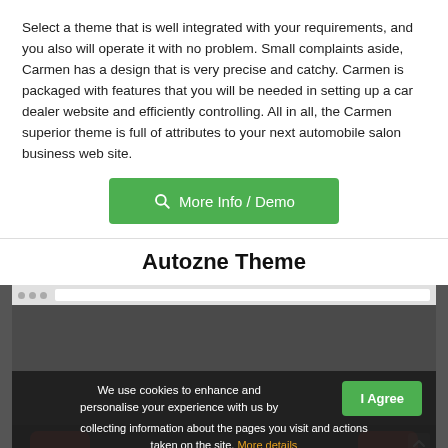Select a theme that is well integrated with your requirements, and you also will operate it with no problem. Small complaints aside, Carmen has a design that is very precise and catchy. Carmen is packaged with features that you will be needed in setting up a car dealer website and efficiently controlling. All in all, the Carmen superior theme is full of attributes to your next automobile salon business web site.
[Figure (other): Green button labeled 'More Info / Demo' with a search icon]
Autozne Theme
[Figure (screenshot): Screenshot of a dark-themed car dealer website with a browser chrome bar, showing a cookie consent banner with 'I Agree' button and 'More details' link, and red cars visible at the bottom]